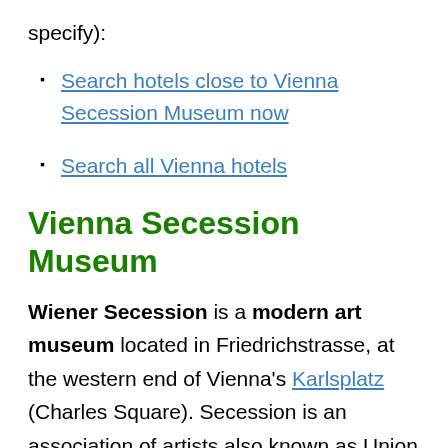specify):
Search hotels close to Vienna Secession Museum now
Search all Vienna hotels
Vienna Secession Museum
Wiener Secession is a modern art museum located in Friedrichstrasse, at the western end of Vienna's Karlsplatz (Charles Square). Secession is an association of artists also known as Union of Austrian Artists or